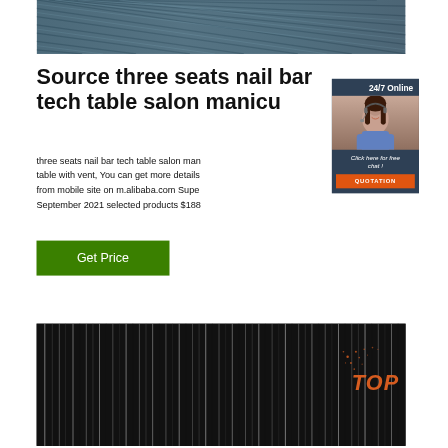[Figure (photo): Close-up photo of dark grey steel wire rods or metal cables bundled together (top image)]
Source three seats nail bar tech table salon manicure table with vent
three seats nail bar tech table salon manicure table with vent, You can get more details from mobile site on m.alibaba.com Super September 2021 selected products $188
[Figure (photo): Smiling woman with headset — 24/7 online chat support widget with 'Click here for free chat!' and QUOTATION button]
[Figure (photo): Close-up photo of black and white striped steel wire rods bundled together (bottom image) with orange TOP watermark]